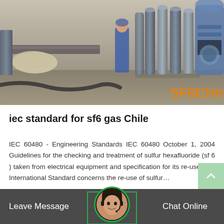[Figure (photo): Industrial photo showing large gas cylinders/tanks arranged outdoors on a concrete surface, with a worker in blue overalls visible among the tanks. Various industrial equipment visible. Orange 'SF6China' watermark in lower right corner.]
iec standard for sf6 gas Chile
IEC 60480 - Engineering Standards IEC 60480 October 1, 2004 Guidelines for the checking and treatment of sulfur hexafluoride (sf 6 ) taken from electrical equipment and specification for its re-use This International Standard concerns the re-use of sulfur…